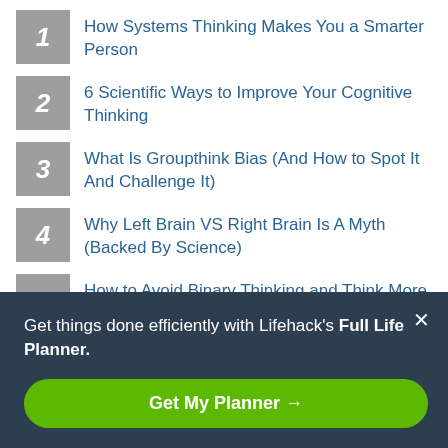1 How Systems Thinking Makes You a Smarter Person
2 6 Scientific Ways to Improve Your Cognitive Thinking
3 What Is Groupthink Bias (And How to Spot It And Challenge It)
4 Why Left Brain VS Right Brain Is A Myth (Backed By Science)
5 How to Avoid Binary Thinking and Think More Clearly
READ NEXT
Get things done efficiently with Lifehack's Full Life Planner.
Get My Planner →